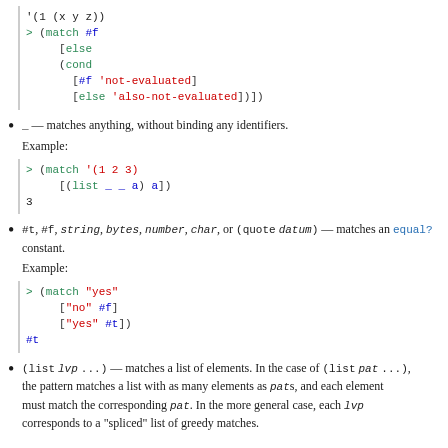[Figure (screenshot): Code block showing Racket match expression with #f, cond, else, not-evaluated and also-not-evaluated patterns]
_ — matches anything, without binding any identifiers.
Example:
[Figure (screenshot): Code block showing match '(1 2 3) with [(list _ _ a) a] returning 3]
#t, #f, string, bytes, number, char, or (quote datum) — matches an equal? constant.
Example:
[Figure (screenshot): Code block showing match "yes" with ["no" #f] ["yes" #t] returning #t]
(list lvp ...) — matches a list of elements. In the case of (list pat ...), the pattern matches a list with as many elements as pats, and each element must match the corresponding pat. In the more general case, each lvp corresponds to a "spliced" list of greedy matches.